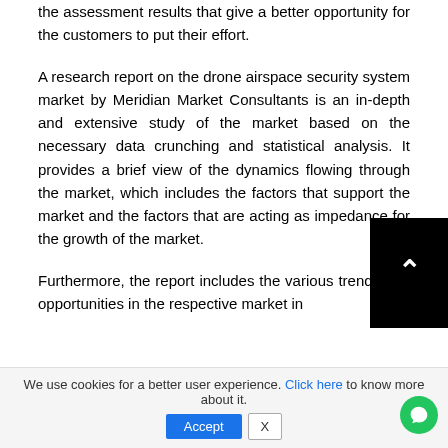the assessment results that give a better opportunity for the customers to put their effort.
A research report on the drone airspace security system market by Meridian Market Consultants is an in-depth and extensive study of the market based on the necessary data crunching and statistical analysis. It provides a brief view of the dynamics flowing through the market, which includes the factors that support the market and the factors that are acting as impedance for the growth of the market.
Furthermore, the report includes the various trends and opportunities in the respective market in
We use cookies for a better user experience. Click here to know more about it.